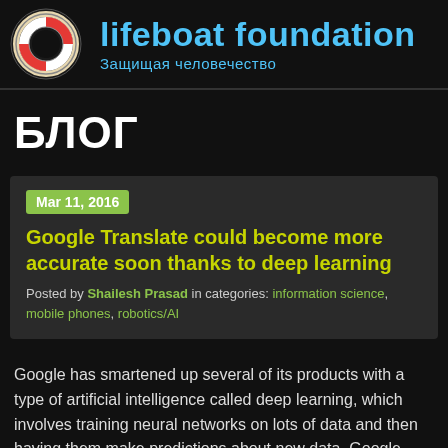[Figure (logo): Lifeboat Foundation logo — life preserver ring with orange/red cross stripes on white, dark background, with site title 'lifeboat foundation' in light blue and subtitle 'Защищая человечество' in light blue]
БЛОГ
Mar 11, 2016
Google Translate could become more accurate soon thanks to deep learning
Posted by Shailesh Prasad in categories: information science, mobile phones, robotics/AI
Google has smartened up several of its products with a type of artificial intelligence called deep learning, which involves training neural networks on lots of data and then having them make predictions about new data. Google Maps, Google Photos, and Gmail